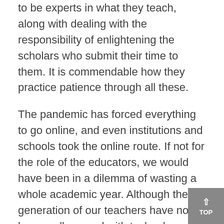to be experts in what they teach, along with dealing with the responsibility of enlightening the scholars who submit their time to them. It is commendable how they practice patience through all these.
The pandemic has forced everything to go online, and even institutions and schools took the online route. If not for the role of the educators, we would have been in a dilemma of wasting a whole academic year. Although the generation of our teachers have not been well- versed with technology, they took their service seriously and have tried learning using the gadgets, just like they always do.
The current scenario, has become toxic for teachers, and every day there are cases of children misusing the online medium to 'have fun'. But, this is the time